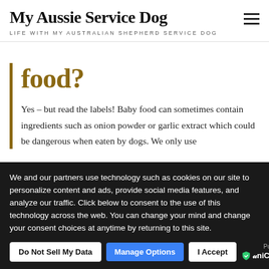My Aussie Service Dog
LIFE WITH MY AUSTRALIAN SHEPHERD SERVICE DOG
food?
Yes – but read the labels! Baby food can sometimes contain ingredients such as onion powder or garlic extract which could be dangerous when eaten by dogs. We only use
We and our partners use technology such as cookies on our site to personalize content and ads, provide social media features, and analyze our traffic. Click below to consent to the use of this technology across the web. You can change your mind and change your consent choices at anytime by returning to this site.
Do Not Sell My Data | Manage Options | I Accept | Powered by UniConsent